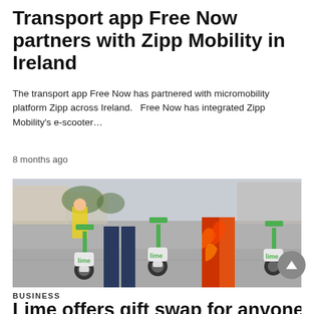Transport app Free Now partners with Zipp Mobility in Ireland
The transport app Free Now has partnered with micromobility platform Zipp across Ireland.   Free Now has integrated Zipp Mobility's e-scooter…
8 months ago
[Figure (photo): Photo of Lime e-scooters parked on a city street with people standing beside them. Two scooters are visible with green and white Lime branding. A person in blue jeans and another in colorful flame-patterned trousers are visible. A person in a yellow hi-vis jacket is visible in the background.]
BUSINESS
Lime offers gift swap for anyone…